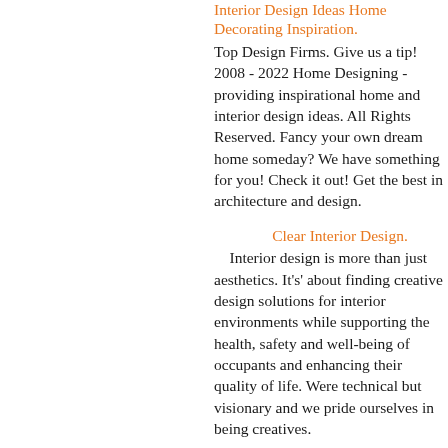Interior Design Ideas Home Decorating Inspiration.
Top Design Firms. Give us a tip! 2008 - 2022 Home Designing - providing inspirational home and interior design ideas. All Rights Reserved. Fancy your own dream home someday? We have something for you! Check it out! Get the best in architecture and design.
Clear Interior Design.
Interior design is more than just aesthetics. It's' about finding creative design solutions for interior environments while supporting the health, safety and well-being of occupants and enhancing their quality of life. Were technical but visionary and we pride ourselves in being creatives.
LEED certification for new